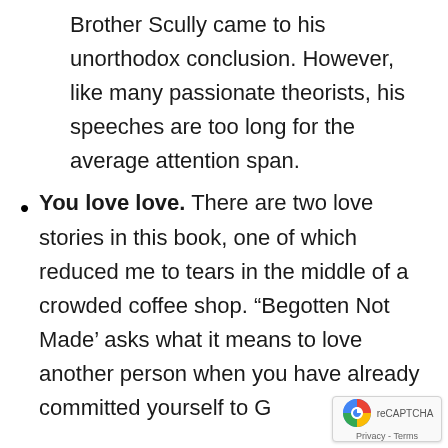Brother Scully came to his unorthodox conclusion. However, like many passionate theorists, his speeches are too long for the average attention span.
You love love. There are two love stories in this book, one of which reduced me to tears in the middle of a crowded coffee shop. “Begotten Not Made’ asks what it means to love another person when you have already committed yourself to G